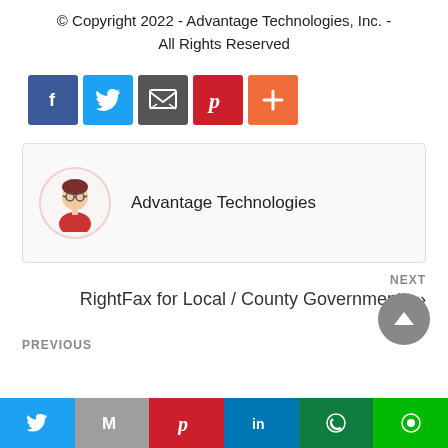© Copyright 2022 - Advantage Technologies, Inc. - All Rights Reserved
[Figure (infographic): Row of 5 social share buttons: Facebook (blue), Twitter (blue), Email (gray), Pinterest (red), More/Plus (orange)]
[Figure (infographic): Author card with avatar illustration of woman with glasses and red shirt, next to text 'Advantage Technologies']
Advantage Technologies
NEXT
RightFax for Local / County Governments »
PREVIOUS
[Figure (infographic): Bottom share bar with 6 icons: Twitter, Gmail, Pinterest, LinkedIn, WhatsApp, LINE]